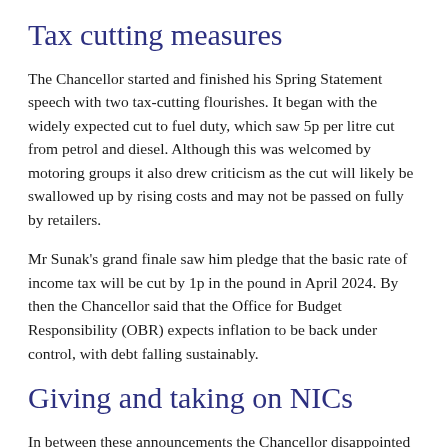Tax cutting measures
The Chancellor started and finished his Spring Statement speech with two tax-cutting flourishes. It began with the widely expected cut to fuel duty, which saw 5p per litre cut from petrol and diesel. Although this was welcomed by motoring groups it also drew criticism as the cut will likely be swallowed up by rising costs and may not be passed on fully by retailers.
Mr Sunak's grand finale saw him pledge that the basic rate of income tax will be cut by 1p in the pound in April 2024. By then the Chancellor said that the Office for Budget Responsibility (OBR) expects inflation to be back under control, with debt falling sustainably.
Giving and taking on NICs
In between these announcements the Chancellor disappointed those who hoped he would cancel the Health and Social Care Levy, which adds 1.25% to national insurance contributions…